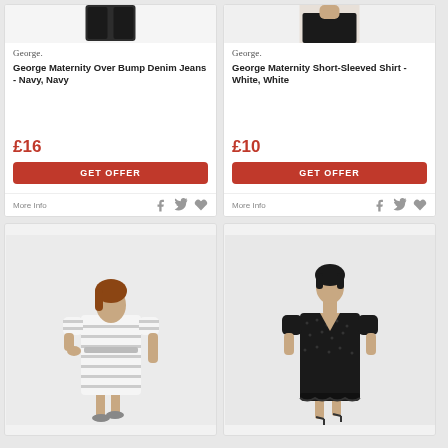[Figure (screenshot): Product card top-left: George Maternity Over Bump Denim Jeans - Navy, Navy. Dark clothing item image at top, George brand logo, product title in bold, price £16, red GET OFFER button, More Info and social icons footer.]
[Figure (screenshot): Product card top-right: George Maternity Short-Sleeved Shirt - White, White. Clothing item image at top, George brand logo, product title in bold, price £10, red GET OFFER button, More Info and social icons footer.]
[Figure (photo): Bottom-left product card showing a woman in a white/cream striped maternity dress with short sleeves, belted at the waist, wearing grey sneakers.]
[Figure (photo): Bottom-right product card showing a woman in a black lace maternity midi dress with short sleeves and V-neckline, wearing strappy heeled sandals.]